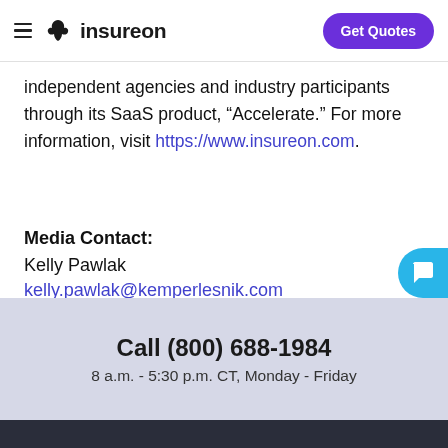insureon | Get Quotes
independent agencies and industry participants through its SaaS product, “Accelerate.” For more information, visit https://www.insureon.com.
Media Contact:
Kelly Pawlak
kelly.pawlak@kemperlesnik.com
(708) 600-4426
Call (800) 688-1984
8 a.m. - 5:30 p.m. CT, Monday - Friday